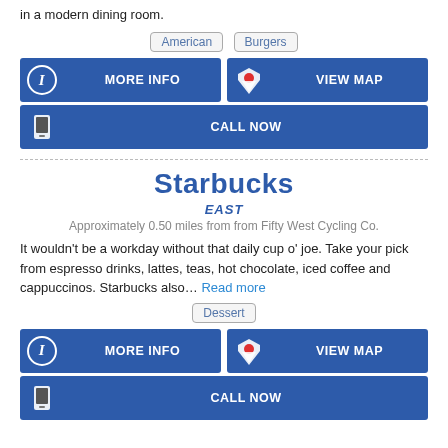in a modern dining room.
American
Burgers
MORE INFO | VIEW MAP | CALL NOW (buttons)
Starbucks
EAST
Approximately 0.50 miles from from Fifty West Cycling Co.
It wouldn't be a workday without that daily cup o' joe. Take your pick from espresso drinks, lattes, teas, hot chocolate, iced coffee and cappuccinos. Starbucks also... Read more
Dessert
MORE INFO | VIEW MAP | CALL NOW (buttons)